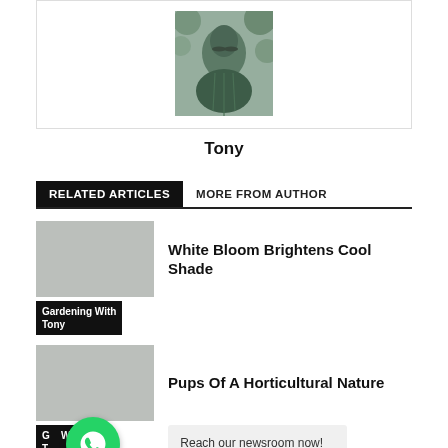[Figure (photo): Headshot photo of Tony, a man with a moustache wearing a dark shirt, outdoors with green foliage background]
Tony
RELATED ARTICLES   MORE FROM AUTHOR
White Bloom Brightens Cool Shade
Gardening With Tony
Pups Of A Horticultural Nature
Gardening With Tony
Reach our newsroom now!
Cover Ground With Ground Cover